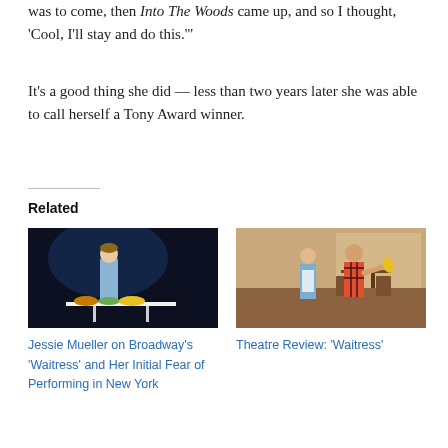was to come, then Into The Woods came up, and so I thought, 'Cool, I'll stay and do this.'”
It’s a good thing she did — less than two years later she was able to call herself a Tony Award winner.
Related
[Figure (photo): Jessie Mueller on stage in Waitress, standing at a table with colorful mixing bowls, wearing a blue diner uniform against a dark background]
Jessie Mueller on Broadway's ‘Waitress’ and Her Initial Fear of Performing in New York
[Figure (photo): Two actors in a diner scene from Waitress, a woman in a blue waitress uniform and a man in a plaid shirt, in a restaurant set]
Theatre Review: ‘Waitress’